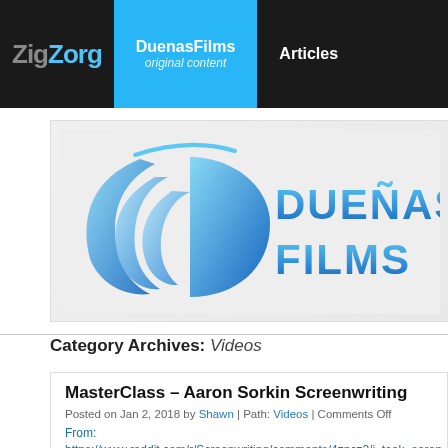ZigZorg | DuenasFilms original content | Articles
[Figure (logo): Dueñas Films logo — stylized blue letter D with wave/flame strokes on left, text 'DUEÑAS FILMS' in blue on right, on light grey background]
Category Archives: Videos
MasterClass – Aaron Sorkin Screenwriting
Posted on Jan 2, 2018 by Shawn | Path: Videos | Comments Off
From: https://www.reddit.com/r/Screenwriting/comments/4zpcz2/i_took_aaron (added) HOW TO BE A WRITER Write. Be writing be writing be writing be w